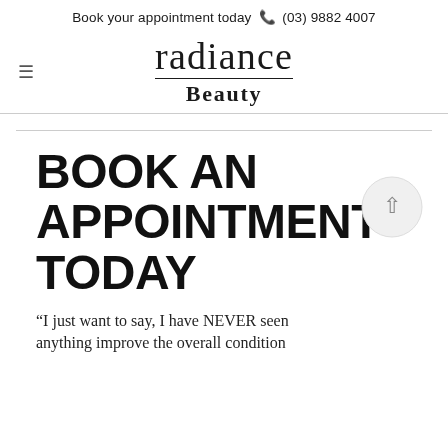Book your appointment today ☎ (03) 9882 4007
[Figure (logo): Radiance Beauty logo — 'radiance' in large serif text above a horizontal rule, 'Beauty' in bold serif below]
BOOK AN APPOINTMENT TODAY
“I just want to say, I have NEVER seen anything improve the overall condition